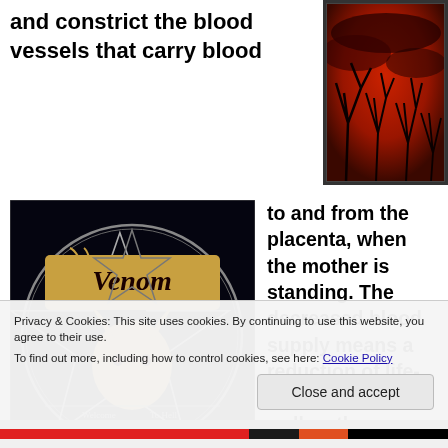and constrict the blood vessels that carry blood
[Figure (photo): Dark red sky with bare tree silhouettes, eerie atmospheric photo]
[Figure (photo): Venom band logo - Welcome to Hell album cover with pentagram and goat head on black background]
to and from the placenta, when the mother is standing. The decreased blood supply means a reduction of life-giving oxygen as well as the buildup of toxins that would otherwise be taken
Privacy & Cookies: This site uses cookies. By continuing to use this website, you agree to their use.
To find out more, including how to control cookies, see here: Cookie Policy
Close and accept